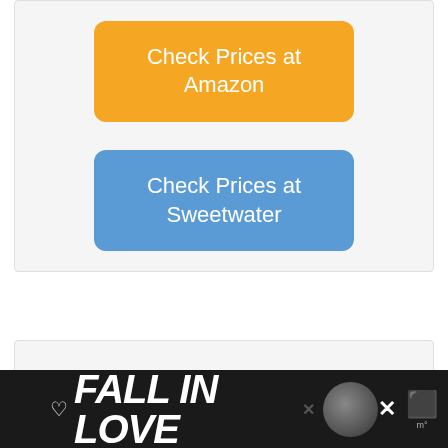[Figure (screenshot): Orange rounded button labeled 'Check Prices at Amazon' inside a light gray card area]
[Figure (screenshot): Blue rounded button labeled 'Check Prices at Sweetwater' inside the same light gray card area]
[Figure (screenshot): Light gray card section below the buttons, mostly empty]
[Figure (screenshot): Dark advertisement banner at bottom reading 'FALL IN LOVE' in large white italic text with a dog image and close/X buttons]